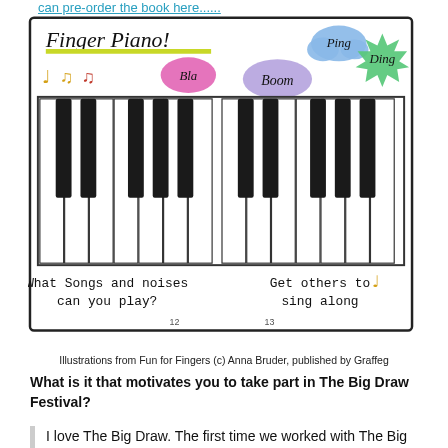can pre-order the book here......
[Figure (illustration): Illustration of a Finger Piano keyboard with musical notes, speech bubbles labeled Bla, Boom, Ping, Ding, and text: What Songs and noises can you play? Get others to sing along. Page numbers 12 and 13 visible.]
Illustrations from Fun for Fingers (c) Anna Bruder, published by Graffeg
What is it that motivates you to take part in The Big Draw Festival?
I love The Big Draw. The first time we worked with The Big Draw was in 2015